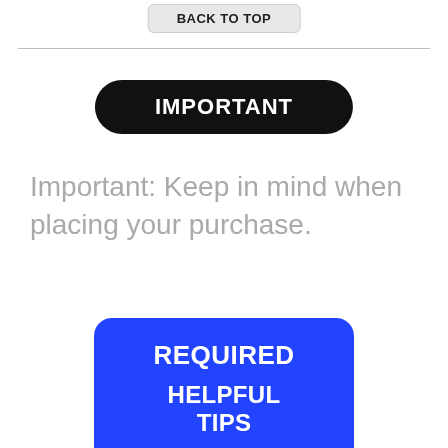BACK TO TOP
IMPORTANT
Important: Keep in mind when placing your purchase.
[Figure (other): Blue rounded rectangle button/badge containing the text REQUIRED and HELPFUL TIPS in white bold text]